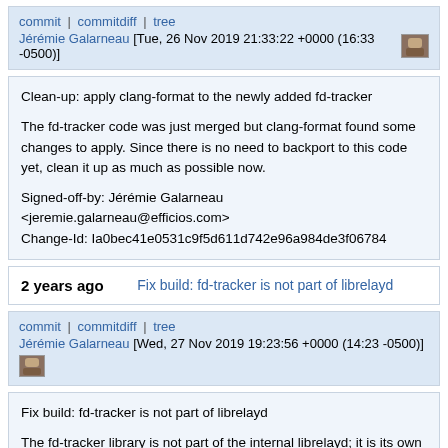commit | commitdiff | tree
Jérémie Galarneau [Tue, 26 Nov 2019 21:33:22 +0000 (16:33 -0500)]
Clean-up: apply clang-format to the newly added fd-tracker

The fd-tracker code was just merged but clang-format found some changes to apply. Since there is no need to backport to this code yet, clean it up as much as possible now.

Signed-off-by: Jérémie Galarneau <jeremie.galarneau@efficios.com>
Change-Id: Ia0bec41e0531c9f5d611d742e96a984de3f06784
2 years ago	Fix build: fd-tracker is not part of librelayd
commit | commitdiff | tree
Jérémie Galarneau [Wed, 27 Nov 2019 19:23:56 +0000 (14:23 -0500)]
Fix build: fd-tracker is not part of librelayd

The fd-tracker library is not part of the internal librelayd; it is its own stand-alone library.